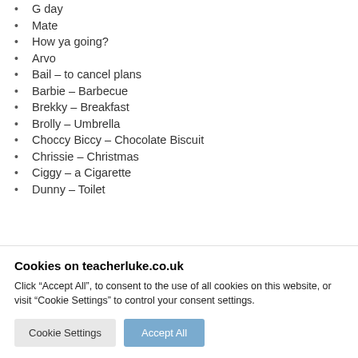G day
Mate
How ya going?
Arvo
Bail – to cancel plans
Barbie – Barbecue
Brekky – Breakfast
Brolly – Umbrella
Choccy Biccy – Chocolate Biscuit
Chrissie – Christmas
Ciggy – a Cigarette
Dunny – Toilet
Cookies on teacherluke.co.uk
Click “Accept All”, to consent to the use of all cookies on this website, or visit “Cookie Settings” to control your consent settings.